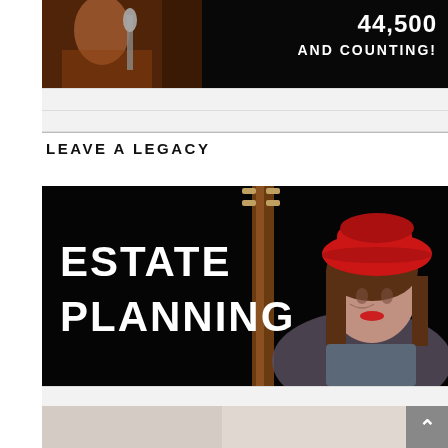[Figure (photo): Concert photo with dark background, performer on left side with microphone, text overlay on right reading '44,500 AND COUNTING!']
LEAVE A LEGACY
[Figure (photo): Dark concert photo showing a woman wearing a red hat on the right side, with a bass instrument neck in center, and white text overlay on left reading 'ESTATE PLANNING']